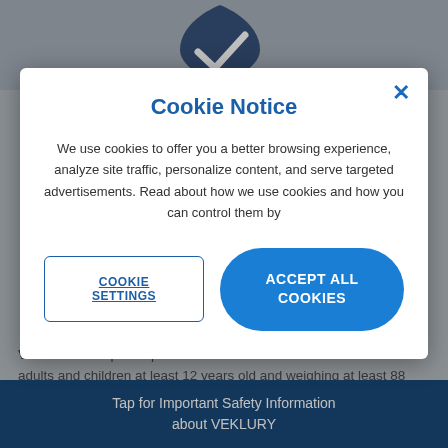[Figure (screenshot): Background page showing a dark blue shield logo at the top and partial text about VEKLURY prescription medicine, dimmed by modal overlay]
Cookie Notice
We use cookies to offer you a better browsing experience, analyze site traffic, personalize content, and serve targeted advertisements. Read about how we use cookies and how you can control them by
COOKIE SETTINGS
ACCEPT ALL COOKIES
VEKLURY is a prescription medicine used to treat COVID-19 in adults and children at least 12 years old and weighing at least 88 pounds requiring hospitalization.
Talk to a healthcare provider to see if VEKLURY may be an option for you.
Tap for Important Safety Information about VEKLURY